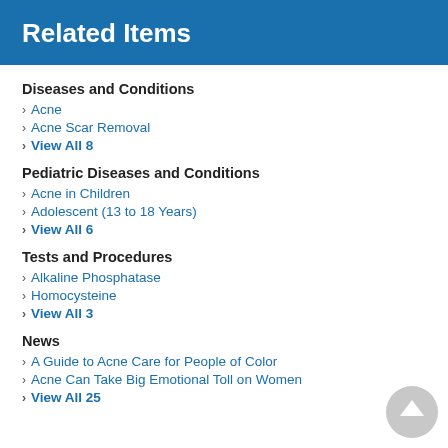Related Items
Diseases and Conditions
Acne
Acne Scar Removal
View All 8
Pediatric Diseases and Conditions
Acne in Children
Adolescent (13 to 18 Years)
View All 6
Tests and Procedures
Alkaline Phosphatase
Homocysteine
View All 3
News
A Guide to Acne Care for People of Color
Acne Can Take Big Emotional Toll on Women
View All 25